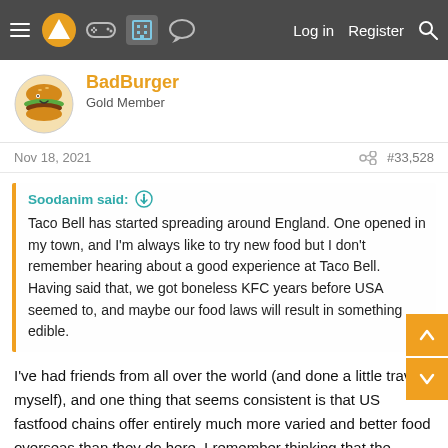Navigation bar with hamburger menu, logo, gamepad icon, building icon, chat icon, Log in, Register, Search
BadBurger
Gold Member
Nov 18, 2021  #33,528
Soodanim said: Taco Bell has started spreading around England. One opened in my town, and I'm always like to try new food but I don't remember hearing about a good experience at Taco Bell. Having said that, we got boneless KFC years before USA seemed to, and maybe our food laws will result in something edible.
I've had friends from all over the world (and done a little travel myself), and one thing that seems consistent is that US fastfood chains offer entirely much more varied and better food overseas than they do here. I remember thinking that the veggie nuggets from Burger King in Germany and their veggie burgers were the bomb - and this was about ten years